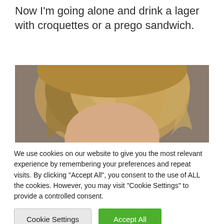Now I'm going alone and drink a lager with croquettes or a prego sandwich.
[Figure (photo): Close-up photo of a blonde woman's face cropped from forehead to just below the eyes, neutral expression, brown/tan background.]
We use cookies on our website to give you the most relevant experience by remembering your preferences and repeat visits. By clicking “Accept All”, you consent to the use of ALL the cookies. However, you may visit "Cookie Settings" to provide a controlled consent.